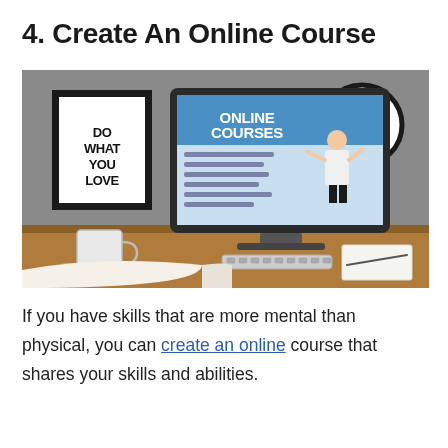4. Create An Online Course
[Figure (photo): A desktop computer on a wooden desk displaying an 'ONLINE COURSES' webpage with a presenter, flanked by a motivational 'DO WHAT YOU LOVE' framed poster, a wall clock, a coffee mug, and an open book in the foreground.]
If you have skills that are more mental than physical, you can create an online course that shares your skills and abilities.